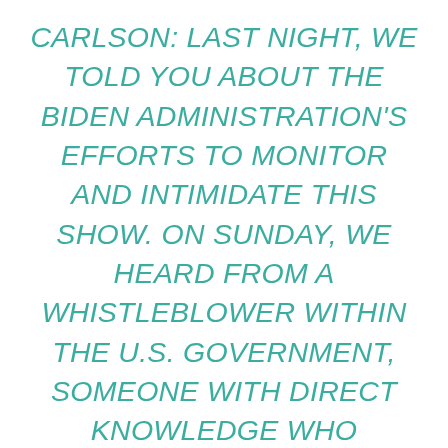CARLSON: LAST NIGHT, WE TOLD YOU ABOUT THE BIDEN ADMINISTRATION'S EFFORTS TO MONITOR AND INTIMIDATE THIS SHOW. ON SUNDAY, WE HEARD FROM A WHISTLEBLOWER WITHIN THE U.S. GOVERNMENT, SOMEONE WITH DIRECT KNOWLEDGE WHO WARNED US THAT THE NSA WAS READING OUR ELECTRONIC COMMUNICATIONS, OUR EMAILS AND TEXTS AND WAS PLANNING TO LEAK THEM SELECTIVELY IN AN EFFORT TO HURT US.
THIS PERSON HAD DETAILS FROM MY